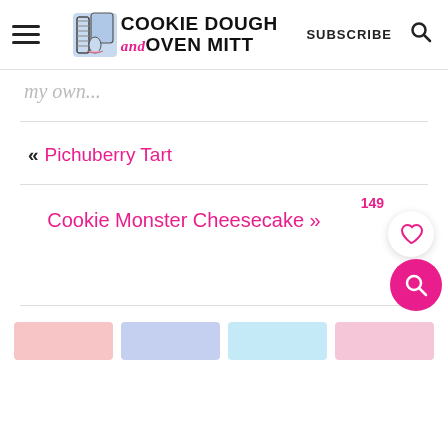Cookie Dough and Oven Mitt — SUBSCRIBE
my own...
« Pichuberry Tart
Cookie Monster Cheesecake »